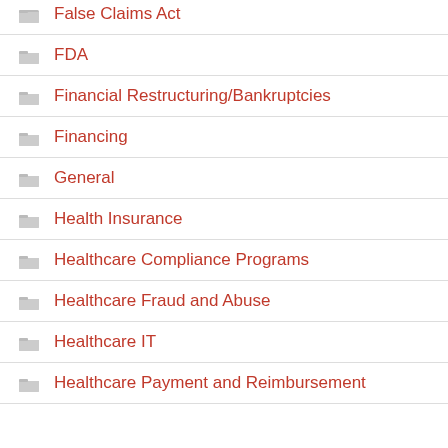False Claims Act
FDA
Financial Restructuring/Bankruptcies
Financing
General
Health Insurance
Healthcare Compliance Programs
Healthcare Fraud and Abuse
Healthcare IT
Healthcare Payment and Reimbursement